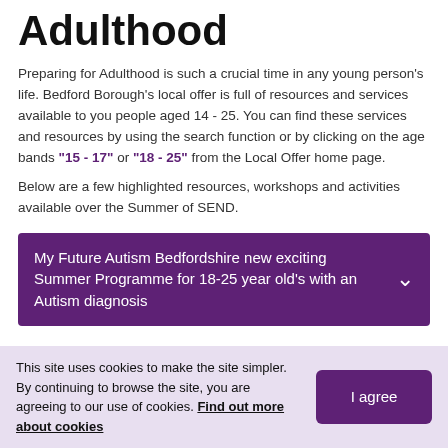Adulthood
Preparing for Adulthood is such a crucial time in any young person's life. Bedford Borough's local offer is full of resources and services available to you people aged 14 - 25. You can find these services and resources by using the search function or by clicking on the age bands "15 - 17" or "18 - 25" from the Local Offer home page.
Below are a few highlighted resources, workshops and activities available over the Summer of SEND.
My Future Autism Bedfordshire new exciting Summer Programme for 18-25 year old's with an Autism diagnosis
This site uses cookies to make the site simpler. By continuing to browse the site, you are agreeing to our use of cookies. Find out more about cookies